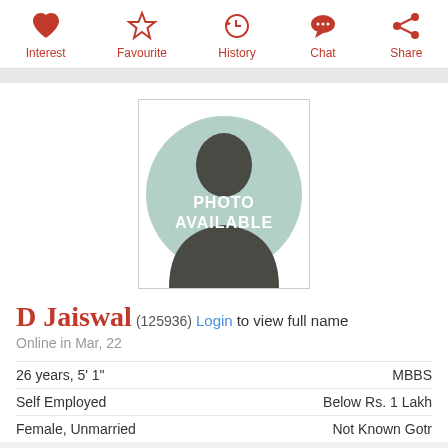[Figure (other): Top navigation bar with action icons: Interest (heart), Favourite (star), History (clock), Chat (speech bubble), Share (share icon), each with label below in dark red]
[Figure (photo): Profile photo placeholder showing a silhouette of a person on teal circle background with text PHOTO AVAILABLE overlaid in white]
D Jaiswal (125936) Login to view full name
Online in Mar, 22
26 years, 5' 1"    MBBS
Self Employed    Below Rs. 1 Lakh
Female, Unmarried    Not Known Gotr